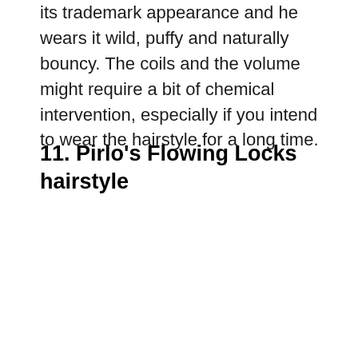its trademark appearance and he wears it wild, puffy and naturally bouncy. The coils and the volume might require a bit of chemical intervention, especially if you intend to wear the hairstyle for a long time.
11. Pirlo's Flowing Locks hairstyle